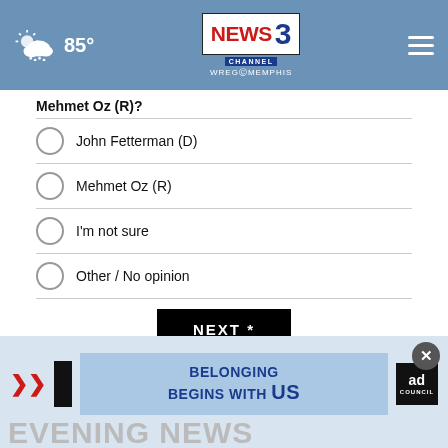85° — News Channel 3 WREG Memphis
Mehmet Oz (R)?
John Fetterman (D)
Mehmet Oz (R)
I'm not sure
Other / No opinion
NEXT *
* By clicking "NEXT" you agree to the following: We use cookies to track your survey answers. If you would like to continue with this survey, please read and agree to the CivicScience Privacy Policy and Terms of Service
[Figure (advertisement): Belonging Begins With US ad council advertisement with red arrow and Evening News text partially visible]